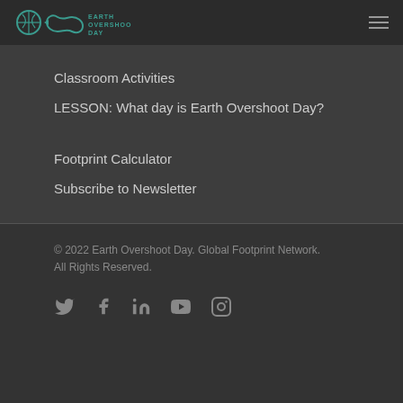Earth Overshoot Day
Classroom Activities
LESSON: What day is Earth Overshoot Day?
Footprint Calculator
Subscribe to Newsletter
© 2022 Earth Overshoot Day. Global Footprint Network. All Rights Reserved.
[Figure (illustration): Social media icons: Twitter, Facebook, LinkedIn, YouTube, Instagram]